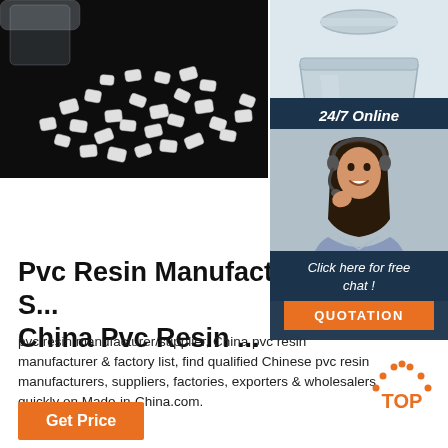[Figure (photo): Close-up photo of white PVC resin pellets spilling from a clear container against a black background]
[Figure (photo): Gray plastic container/bucket product photo on light background]
[Figure (photo): 24/7 Online chat overlay with woman wearing headset smiling, dark blue background, with 'Click here for free chat!' text and orange QUOTATION button]
Pvc Resin Manufacturers & S... China Pvc Resin ...
pvc resin manufacturer/supplier, China pvc resin manufacturer & factory list, find qualified Chinese pvc resin manufacturers, suppliers, factories, exporters & wholesalers quickly on Made-in-China.com.
[Figure (logo): TOP button logo with dotted arc above orange TOP text]
[Figure (other): Orange 'Get Price' button at bottom left]